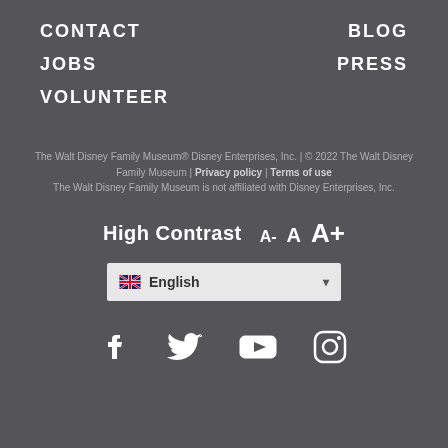CONTACT
BLOG
JOBS
PRESS
VOLUNTEER
The Walt Disney Family Museum® Disney Enterprises, Inc. | © 2022 The Walt Disney Family Museum | Privacy policy | Terms of use
The Walt Disney Family Museum is not affiliated with Disney Enterprises, Inc.
High Contrast   A-   A   A+
[Figure (screenshot): Language selector dropdown showing UK flag and 'English' text]
[Figure (infographic): Social media icons: Facebook, Twitter, YouTube, Instagram]